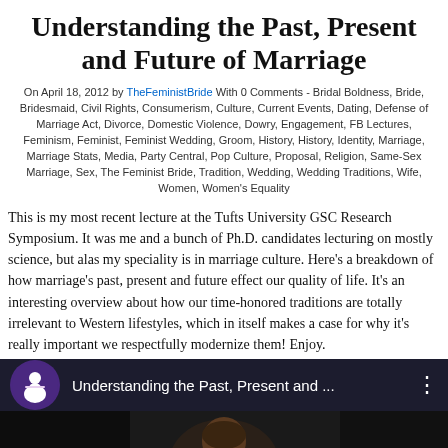Understanding the Past, Present and Future of Marriage
On April 18, 2012 by TheFeministBride With 0 Comments - Bridal Boldness, Bride, Bridesmaid, Civil Rights, Consumerism, Culture, Current Events, Dating, Defense of Marriage Act, Divorce, Domestic Violence, Dowry, Engagement, FB Lectures, Feminism, Feminist, Feminist Wedding, Groom, History, History, Identity, Marriage, Marriage Stats, Media, Party Central, Pop Culture, Proposal, Religion, Same-Sex Marriage, Sex, The Feminist Bride, Tradition, Wedding, Wedding Traditions, Wife, Women, Women's Equality
This is my most recent lecture at the Tufts University GSC Research Symposium. It was me and a bunch of Ph.D. candidates lecturing on mostly science, but alas my speciality is in marriage culture. Here's a breakdown of how marriage's past, present and future effect our quality of life. It's an interesting overview about how our time-honored traditions are totally irrelevant to Western lifestyles, which in itself makes a case for why it's really important we respectfully modernize them! Enjoy.
[Figure (screenshot): YouTube video embed showing 'Understanding the Past, Present and ...' with a circular thumbnail of a bride figure and a dark video preview showing a person]